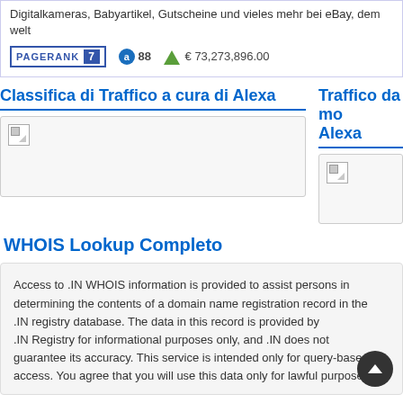Digitalkameras, Babyartikel, Gutscheine und vieles mehr bei eBay, dem welt
PAGERANK 7   88   € 73,273,896.00
Classifica di Traffico a cura di Alexa
Traffico da mo Alexa
[Figure (other): Broken image placeholder in chart box left]
[Figure (other): Broken image placeholder in chart box right]
WHOIS Lookup Completo
Access to .IN WHOIS information is provided to assist persons in
determining the contents of a domain name registration record in the
.IN registry database. The data in this record is provided by
.IN Registry for informational purposes only, and .IN does not
guarantee its accuracy. This service is intended only for query-based
access. You agree that you will use this data only for lawful purposes